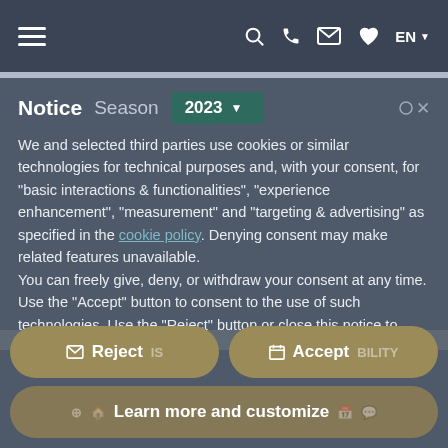Navigation bar with hamburger menu, search, phone, email, heart, EN language selector
Notice Season 2023
We and selected third parties use cookies or similar technologies for technical purposes and, with your consent, for “basic interactions & functionalities”, “experience enhancement”, “measurement” and “targeting & advertising” as specified in the cookie policy. Denying consent may make related features unavailable.
You can freely give, deny, or withdraw your consent at any time.
Use the “Accept” button to consent to the use of such technologies. Use the “Reject” button or close this notice to continue without accepting.
Reject
Accept
Learn more and customize